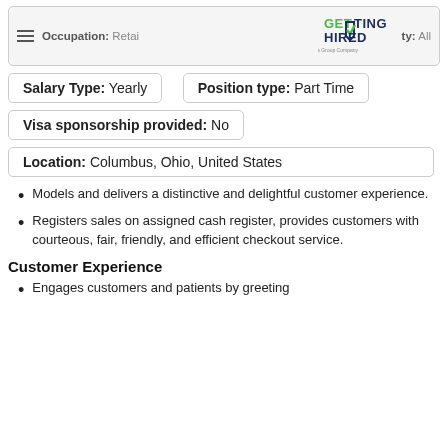Occupation: Retail ... ty: All
[Figure (logo): Getting Hired logo - An Allegis Group Company]
Salary Type: Yearly
Position type: Part Time
Visa sponsorship provided: No
Location: Columbus, Ohio, United States
Models and delivers a distinctive and delightful customer experience.
Registers sales on assigned cash register, provides customers with courteous, fair, friendly, and efficient checkout service.
Customer Experience
Engages customers and patients by greeting